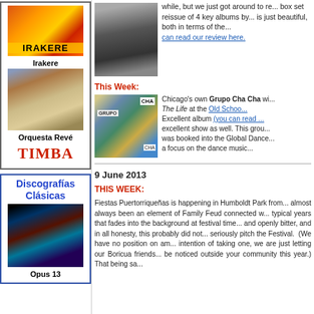[Figure (photo): Irakere album cover - colorful red/yellow/orange artwork with IRAKERE text]
Irakere
[Figure (photo): Orquesta Revé album cover - people dancing/jumping]
Orquesta Revé
TIMBA
Discografías Clásicas
[Figure (photo): Opus 13 album cover - dark blue and cyan tones]
Opus 13
[Figure (photo): Black and white photo of a person in formal wear at what appears to be a piano or podium]
while, but we just got around to reviewing it. It's a box set reissue of 4 key albums by... is just beautiful, both in terms of the... can read our review here.
This Week:
[Figure (photo): Grupo Cha Cha album cover collage with CHA, GRUPO text and landscape photo]
Chicago's own Grupo Cha Cha will present The Life at the Old Town School... Excellent album (you can read...) excellent show as well. This group... was booked into the Global Dance... a focus on the dance music...
9 June 2013
THIS WEEK:
Fiestas Puertorriqueñas is happening in Humboldt Park from... almost always been an element of Family Feud connected w... typical years that fades into the background at festival time... and openly bitter, and in all honesty, this probably did not... seriously pitch the Festival. (We have no position on am... intention of taking one, we are just letting our Boricua friends... be noticed outside your community this year.) That being sa...